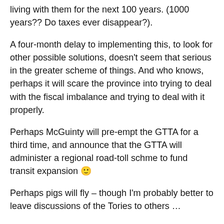living with them for the next 100 years. (1000 years?? Do taxes ever disappear?).
A four-month delay to implementing this, to look for other possible solutions, doesn't seem that serious in the greater scheme of things. And who knows, perhaps it will scare the province into trying to deal with the fiscal imbalance and trying to deal with it properly.
Perhaps McGuinty will pre-empt the GTTA for a third time, and announce that the GTTA will administer a regional road-toll schme to fund transit expansion 🙂
Perhaps pigs will fly – though I'm probably better to leave discussions of the Tories to others …